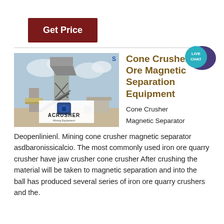[Figure (other): Get Price button - dark red/maroon rectangular button with white text]
[Figure (other): Live Chat bubble icon - teal circle with LIVE CHAT text and dark purple speech bubble]
[Figure (photo): Industrial mining cone crusher / magnetic separation equipment facility with steel structure, conveyor belts, and ACRUSHER Mining Equipment logo overlay]
Cone Crusher Iron Ore Magnetic Separation Equipment
Cone Crusher
Magnetic Separator
Deopenlinienl. Mining cone crusher magnetic separator asdbaronissicalcio. The most commonly used iron ore quarry crusher have jaw crusher cone crusher After crushing the material will be taken to magnetic separation and into the ball has produced several series of iron ore quarry crushers and the.